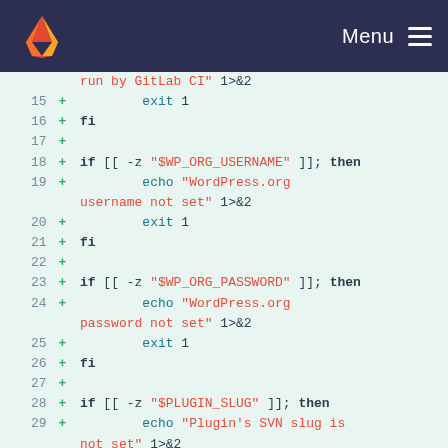GitLab CI Menu
[Figure (screenshot): Code diff view showing shell script lines 15-30 with added lines (green +) containing bash conditionals checking WP_ORG_USERNAME, WP_ORG_PASSWORD, and PLUGIN_SLUG environment variables]
run by GitLab CI" 1>&2
15 + exit 1
16 + fi
17 +
18 + if [[ -z "$WP_ORG_USERNAME" ]]; then
19 + echo "WordPress.org username not set" 1>&2
20 + exit 1
21 + fi
22 +
23 + if [[ -z "$WP_ORG_PASSWORD" ]]; then
24 + echo "WordPress.org password not set" 1>&2
25 + exit 1
26 + fi
27 +
28 + if [[ -z "$PLUGIN_SLUG" ]]; then
29 + echo "Plugin's SVN slug is not set" 1>&2
30 + exit 1